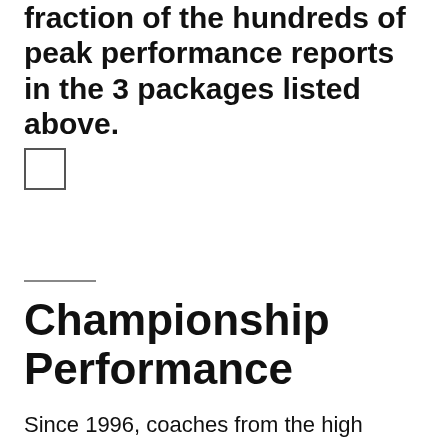fraction of the hundreds of peak performance reports in the 3 packages listed above.
[Figure (other): Empty checkbox square]
Championship Performance
Since 1996, coaches from the high school to professional level have turned to